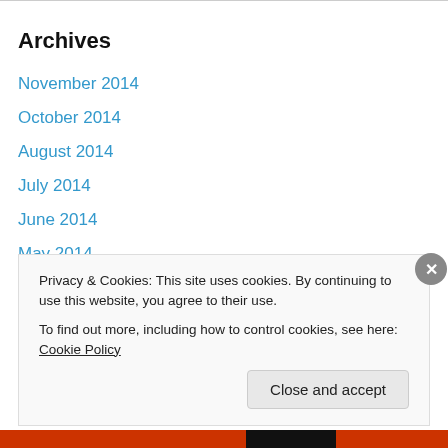Archives
November 2014
October 2014
August 2014
July 2014
June 2014
May 2014
April 2014
March 2014
January 2014
December 2013
Privacy & Cookies: This site uses cookies. By continuing to use this website, you agree to their use.
To find out more, including how to control cookies, see here: Cookie Policy
Close and accept